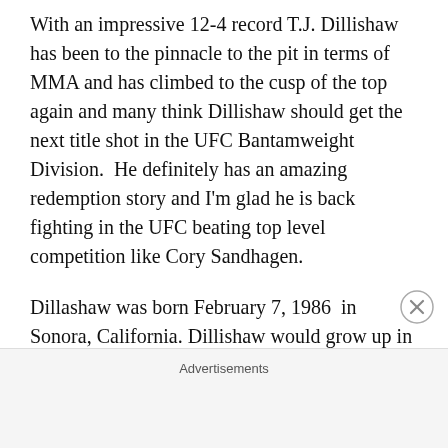With an impressive 12-4 record T.J. Dillishaw has been to the pinnacle to the pit in terms of MMA and has climbed to the cusp of the top again and many think Dillishaw should get the next title shot in the UFC Bantamweight Division.  He definitely has an amazing redemption story and I'm glad he is back fighting in the UFC beating top level competition like Cory Sandhagen.
Dillashaw was born February 7, 1986  in Sonora, California. Dillishaw would grow up in Angels Camp, CA where he'd attend Bret Harte High School. While in High School Dillashaw would wrestle under Coach Jan
Advertisements